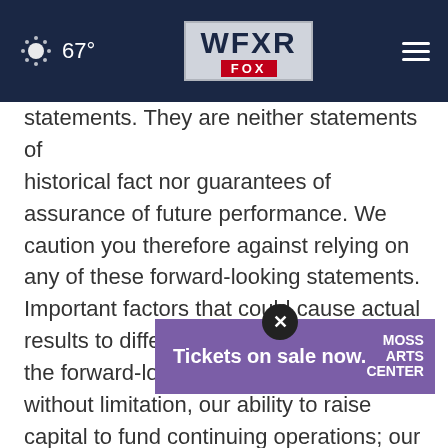67° WFXR FOX
statements. They are neither statements of historical fact nor guarantees of assurance of future performance. We caution you therefore against relying on any of these forward-looking statements. Important factors that could cause actual results to differ materially from those in the forward-looking statements include, without limitation, our ability to raise capital to fund continuing operations; our ability to protect our intellectual property rights; the impact ... r; litigation brought against us; competition from
[Figure (screenshot): Purple advertisement banner for Moss Arts Center reading 'Tickets on sale now.' with a close/X button overlay]